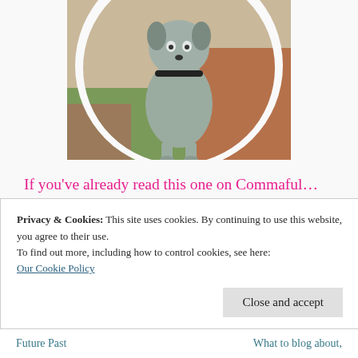[Figure (photo): Circular cropped photo of a dog (appears to be an Australian Cattle Dog or similar breed) standing on grass and red dirt, looking at the camera.]
If you've already read this one on Commaful…
– congratulations for sticking with me so long!
Loading
Privacy & Cookies: This site uses cookies. By continuing to use this website, you agree to their use.
To find out more, including how to control cookies, see here:
Our Cookie Policy
Close and accept
Future Past    What to blog about,